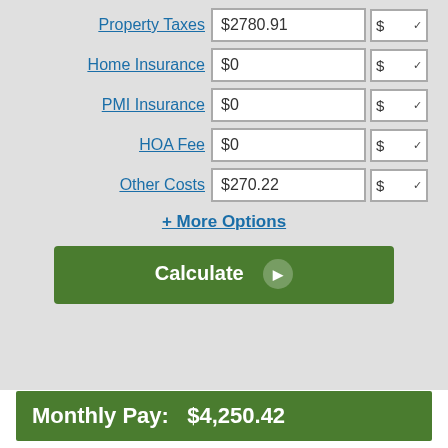Property Taxes $2780.91 $ ▾
Home Insurance $0 $ ▾
PMI Insurance $0 $ ▾
HOA Fee $0 $ ▾
Other Costs $270.22 $ ▾
+ More Options
Calculate
Monthly Pay:   $4,250.42
|  | Monthly | Total |
| --- | --- | --- |
| Mortgage Payment | $4,250.42 | $1,275,126.84 |
| Property Tax | $231.74 | $69,522.75 |
| Other Costs | $22.52 | $6,755.52 |